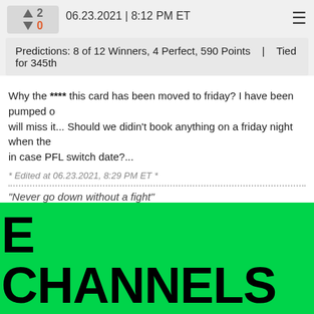06.23.2021 | 8:12 PM ET
Predictions: 8 of 12 Winners, 4 Perfect, 590 Points   |   Tied for 345th
Why the **** this card has been moved to friday? I have been pumped ... will miss it... Should we didin't book anything on a friday night when the... in case PFL switch date?...
* Edited at 06.23.2021, 8:29 PM ET *
"Never go down without a fight"
E CHANNELS
ON+
rms apply. Access content from each service separately and sele
@statnishistoryguy Oslo has nighted sam. Bolja roumate is not better...